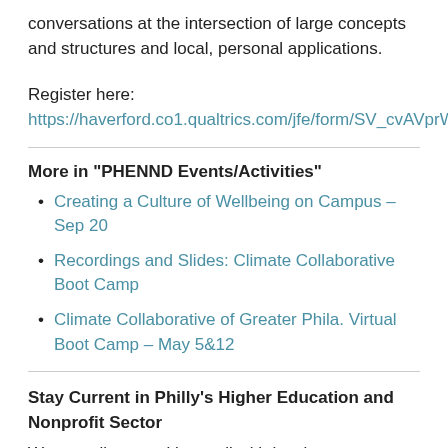conversations at the intersection of large concepts and structures and local, personal applications.
Register here:
https://haverford.co1.qualtrics.com/jfe/form/SV_cvAVprW
More in "PHENND Events/Activities"
Creating a Culture of Wellbeing on Campus – Sep 20
Recordings and Slides: Climate Collaborative Boot Camp
Climate Collaborative of Greater Phila. Virtual Boot Camp – May 5&12
Stay Current in Philly's Higher Education and Nonprofit Sector
We compile a weekly email with local events,